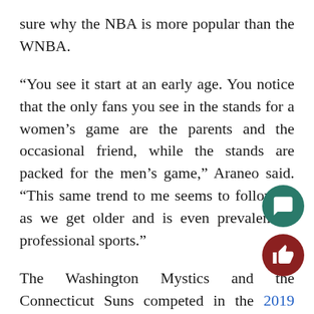sure why the NBA is more popular than the WNBA.
“You see it start at an early age. You notice that the only fans you see in the stands for a women’s game are the parents and the occasional friend, while the stands are packed for the men’s game,” Araneo said. “This same trend to me seems to follow us as we get older and is even prevalent in professional sports.”
The Washington Mystics and the Connecticut Suns competed in the 2019 WNBA Finals and averaged 381,000 viewers on networks like ESPN, ESPN2 and ABC. The Toronto Raptors competed against the Golden State Warriors in the 2019 NBA Finals last year and had 20.5 million views. The WNBA is broadcasted in 24 different countries outside of the U.S.